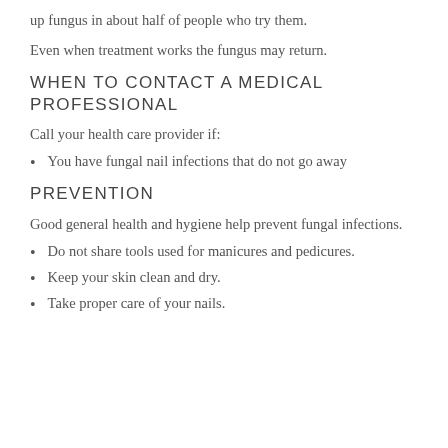up fungus in about half of people who try them.
Even when treatment works the fungus may return.
WHEN TO CONTACT A MEDICAL PROFESSIONAL
Call your health care provider if:
You have fungal nail infections that do not go away
PREVENTION
Good general health and hygiene help prevent fungal infections.
Do not share tools used for manicures and pedicures.
Keep your skin clean and dry.
Take proper care of your nails.